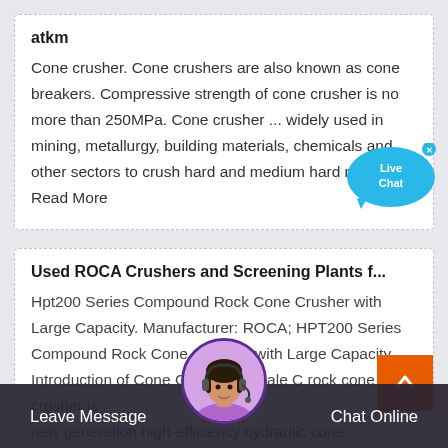atkm
Cone crusher. Cone crushers are also known as cone breakers. Compressive strength of cone crusher is no more than 250MPa. Cone crusher ... widely used in mining, metallurgy, building materials, chemicals and other sectors to crush hard and medium hard materials. Read More
[Figure (illustration): Live Chat speech bubble icon with 'Live Chat' text in white on cyan/blue background, with a small X close button]
Used ROCA Crushers and Screening Plants f...
Hpt200 Series Compound Rock Cone Crusher with Large Capacity. Manufacturer: ROCA; HPT200 Series Compound Rock Cone Crusher. with Large Capacity Introduction of Cone Crusher for Sale Cone rock cone crusher is new generation high-efficiency hydraulic cone
[Figure (illustration): Orange square scroll-to-top button with white chevron/arrow pointing up, positioned at right side]
[Figure (photo): Circular chat avatar showing a woman with headset, bordered in purple, positioned at bottom center over the dark bottom bar]
Leave Message    Chat Online